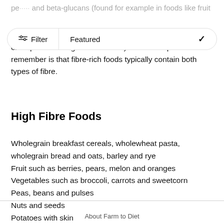pe... and beta-glucans (found for example in foods like fruit
[Figure (screenshot): UI overlay with Filter button (left) and Featured dropdown (right) with chevron]
example in wholegrains and nuts). What is important to remember is that fibre-rich foods typically contain both types of fibre.
High Fibre Foods
Wholegrain breakfast cereals, wholewheat pasta, wholegrain bread and oats, barley and rye
Fruit such as berries, pears, melon and oranges
Vegetables such as broccoli, carrots and sweetcorn
Peas, beans and pulses
Nuts and seeds
Potatoes with skin